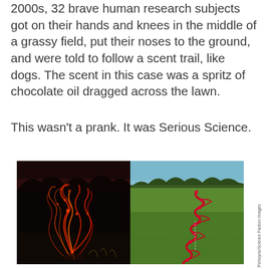2000s, 32 brave human research subjects got on their hands and knees in the middle of a grassy field, put their noses to the ground, and were told to follow a scent trail, like dogs. The scent in this case was a spritz of chocolate oil dragged across the lawn.
This wasn't a prank. It was Serious Science.
[Figure (photo): Two side-by-side photographs. Left: A dark night scene showing glowing red/orange light trails (long-exposure photo of a person crawling and sniffing the ground with light traces). Right: An aerial/ground-level view of a green grassy field with a red zigzag path marked on it showing the scent trail route followed.]
© Psihoyos/Science Faction Images